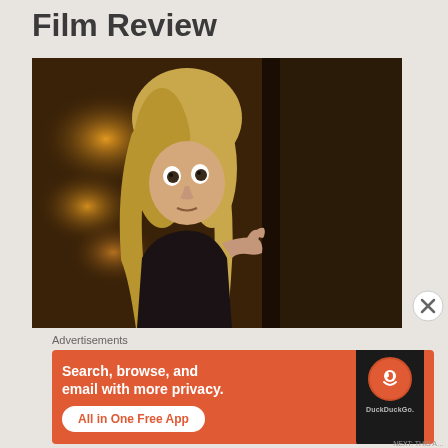Film Review
[Figure (photo): A blonde woman in a black lace dress peeking around the edge of a dark door, with warm amber bokeh lights in the background. A dramatic, cinematic horror/thriller style still.]
Advertisements
[Figure (other): DuckDuckGo advertisement banner: orange background with text 'Search, browse, and email with more privacy. All in One Free App' and an image of a phone showing the DuckDuckGo logo.]